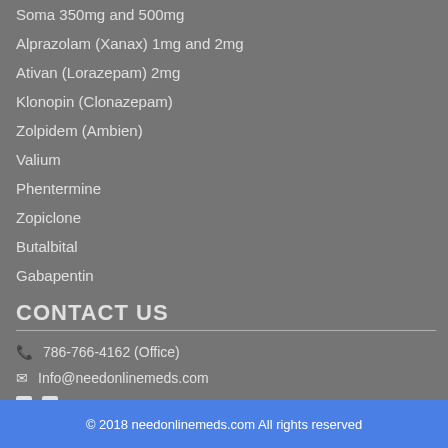Soma 350mg and 500mg
Alprazolam (Xanax) 1mg and 2mg
Ativan (Lorazepam) 2mg
Klonopin (Clonazepam)
Zolpidem (Ambien)
Valium
Phentermine
Zopiclone
Butalbital
Gabapentin
CONTACT US
786-766-4162 (Office)
Info@needonlinemeds.com
© 2018 needonlinemeds.com All rights reserved